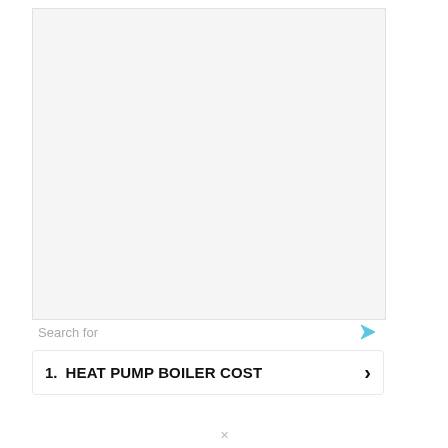[Figure (other): Large light gray rectangular advertisement placeholder area]
Search for
1.   HEAT PUMP BOILER COST  ›